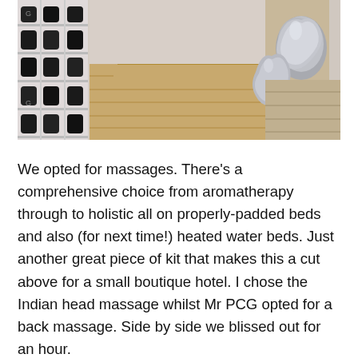[Figure (photo): Interior photo showing a spa or wellness area with wooden flooring and stairs, product shelving with bottles on the left, and two sculptural silver/metallic organic-shaped stools or decorative objects on the right side.]
We opted for massages. There's a comprehensive choice from aromatherapy through to holistic all on properly-padded beds and also (for next time!) heated water beds. Just another great piece of kit that makes this a cut above for a small boutique hotel. I chose the Indian head massage whilst Mr PCG opted for a back massage. Side by side we blissed out for an hour.